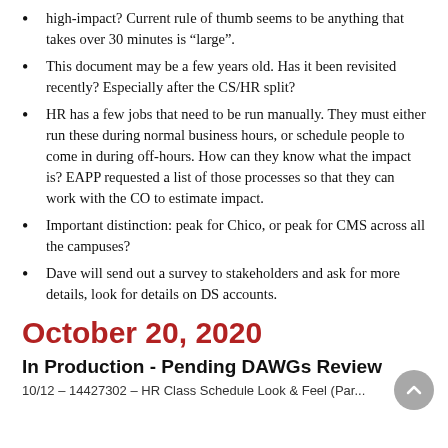high-impact? Current rule of thumb seems to be anything that takes over 30 minutes is “large”.
This document may be a few years old. Has it been revisited recently? Especially after the CS/HR split?
HR has a few jobs that need to be run manually. They must either run these during normal business hours, or schedule people to come in during off-hours. How can they know what the impact is? EAPP requested a list of those processes so that they can work with the CO to estimate impact.
Important distinction: peak for Chico, or peak for CMS across all the campuses?
Dave will send out a survey to stakeholders and ask for more details, look for details on DS accounts.
October 20, 2020
In Production - Pending DAWGs Review
10/12 – 14427302 – HR Class Schedule Look & Feel (Par...